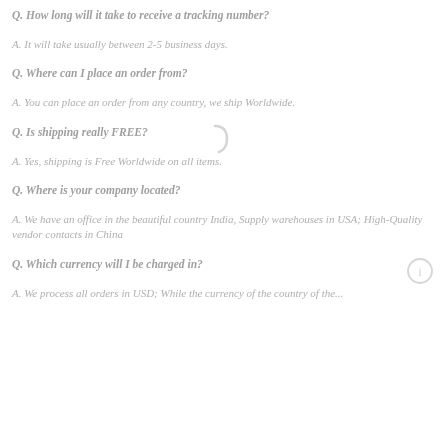Q. How long will it take to receive a tracking number?
A. It will take usually between 2-5 business days.
Q. Where can I place an order from?
A. You can place an order from any country, we ship Worldwide.
Q. Is shipping really FREE?
A. Yes, shipping is Free Worldwide on all items.
Q. Where is your company located?
A. We have an office in the beautiful country India, Supply warehouses in USA; High-Quality vendor contacts in China
Q. Which currency will I be charged in?
A. We process all orders in USD; While the currency of the country...